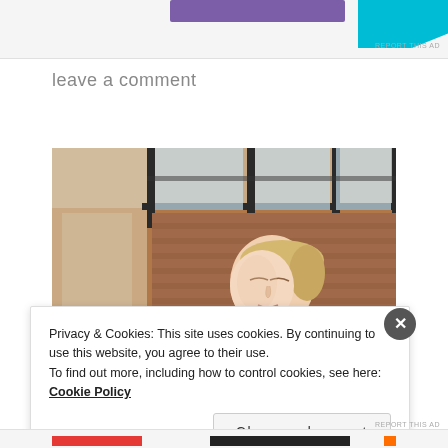[Figure (other): Advertisement banner at top with purple button and cyan/blue diagonal shape on right]
leave a comment
[Figure (photo): Photo of a blonde woman leaning against a brick wall near industrial windows, eyes closed]
Privacy & Cookies: This site uses cookies. By continuing to use this website, you agree to their use.
To find out more, including how to control cookies, see here: Cookie Policy
Close and accept